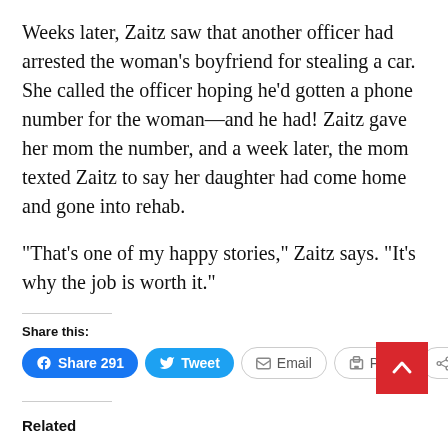Weeks later, Zaitz saw that another officer had arrested the woman’s boyfriend for stealing a car. She called the officer hoping he’d gotten a phone number for the woman—and he had! Zaitz gave her mom the number, and a week later, the mom texted Zaitz to say her daughter had come home and gone into rehab.
“That’s one of my happy stories,” Zaitz says. “It’s why the job is worth it.”
Share this:
Share 291 | Tweet | Email | Print | More
Related